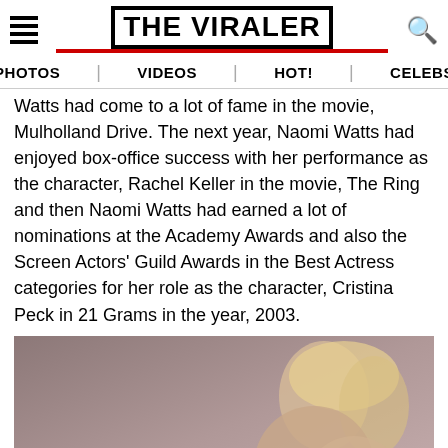THE VIRALER
PHOTOS | VIDEOS | HOT! | CELEBS
Watts had come to a lot of fame in the movie, Mulholland Drive. The next year, Naomi Watts had enjoyed box-office success with her performance as the character, Rachel Keller in the movie, The Ring and then Naomi Watts had earned a lot of nominations at the Academy Awards and also the Screen Actors' Guild Awards in the Best Actress categories for her role as the character, Cristina Peck in 21 Grams in the year, 2003.
[Figure (photo): Blonde woman looking over shoulder in a photoshoot pose against muted background]